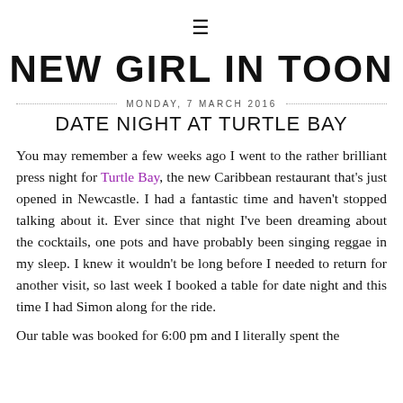≡
NEW GIRL IN TOON
MONDAY, 7 MARCH 2016
DATE NIGHT AT TURTLE BAY
You may remember a few weeks ago I went to the rather brilliant press night for Turtle Bay, the new Caribbean restaurant that's just opened in Newcastle. I had a fantastic time and haven't stopped talking about it. Ever since that night I've been dreaming about the cocktails, one pots and have probably been singing reggae in my sleep. I knew it wouldn't be long before I needed to return for another visit, so last week I booked a table for date night and this time I had Simon along for the ride.
Our table was booked for 6:00 pm and I literally spent the